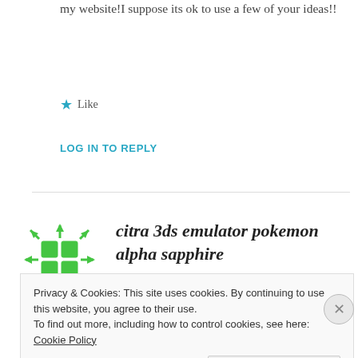my website!I suppose its ok to use a few of your ideas!!
Like
LOG IN TO REPLY
citra 3ds emulator pokemon alpha sapphire
SEPTEMBER 5, 2016 AT 10:10 AM
Privacy & Cookies: This site uses cookies. By continuing to use this website, you agree to their use.
To find out more, including how to control cookies, see here: Cookie Policy
Close and accept